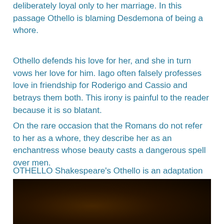deliberately loyal only to her marriage. In this passage Othello is blaming Desdemona of being a whore.
Othello defends his love for her, and she in turn vows her love for him. Iago often falsely professes love in friendship for Roderigo and Cassio and betrays them both. This irony is painful to the reader because it is so blatant.
On the rare occasion that the Romans do not refer to her as a whore, they describe her as an enchantress whose beauty casts a dangerous spell over men.
OTHELLO Shakespeare's Othello is an adaptation of the Italian Un Capitano Moro, There is little sign of true affection or remorse.
[Figure (photo): Dark photograph, mostly dark brown and black tones, appears to show a theatrical or dramatic scene]